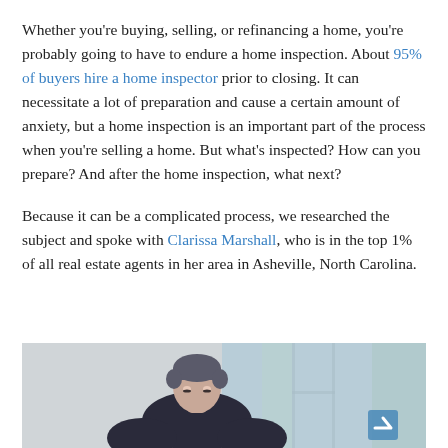Whether you're buying, selling, or refinancing a home, you're probably going to have to endure a home inspection. About 95% of buyers hire a home inspector prior to closing. It can necessitate a lot of preparation and cause a certain amount of anxiety, but a home inspection is an important part of the process when you're selling a home. But what's inspected? How can you prepare? And after the home inspection, what next?
Because it can be a complicated process, we researched the subject and spoke with Clarissa Marshall, who is in the top 1% of all real estate agents in her area in Asheville, North Carolina.
[Figure (photo): Photo of a middle-aged man with grey hair looking down, sitting near a window with light curtains, in a home or office setting]